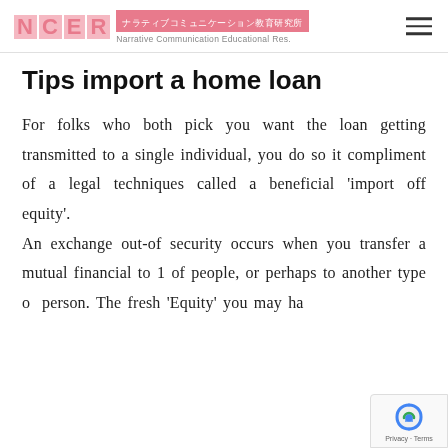NCER ナラティブコミュニケーション教育研究所 Narrative Communication Educational Res.
Tips import a home loan
For folks who both pick you want the loan getting transmitted to a single individual, you do so it compliment of a legal techniques called a beneficial 'import off equity'. An exchange out-of security occurs when you transfer a mutual financial to 1 of people, or perhaps to another type of person. The fresh 'Equity' you may ha